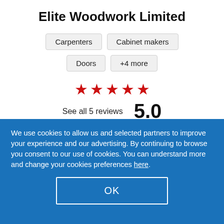Elite Woodwork Limited
Carpenters
Cabinet makers
Doors
+4 more
See all 5 reviews  5.0
01327 301768
We use cookies to allow us and selected partners to improve your experience and our advertising. By continuing to browse you consent to our use of cookies. You can understand more and change your cookies preferences here.
OK